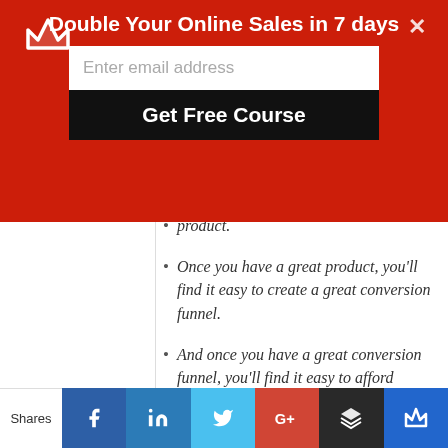Double Your Online Sales in 7 days
Once you have a great product, you'll find it easy to create a great conversion funnel.
And once you have a great conversion funnel, you'll find it easy to afford traffic.
A great product is like a firework. The
Shares